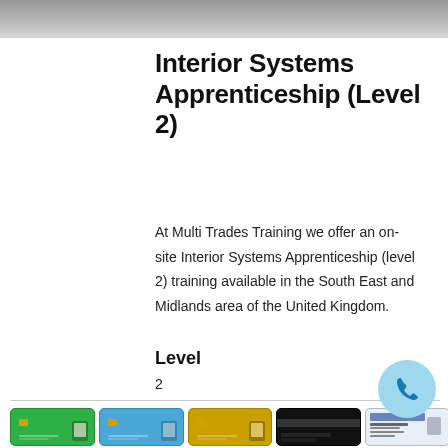[Figure (photo): Grey gradient banner header at the top of the page]
Interior Systems Apprenticeship (Level 2)
At Multi Trades Training we offer an on-site Interior Systems Apprenticeship (level 2) training available in the South East and Midlands area of the United Kingdom.
Level
2
[Figure (illustration): Row of five qualification cards: green CSCS card, blue card, gold card, black card, and a white ID card with photo]
[Figure (illustration): Light blue circular phone/call button icon in bottom right area]